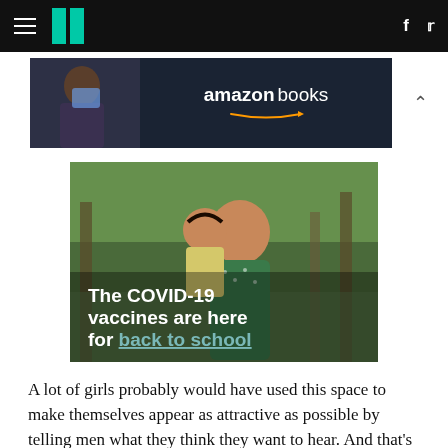HuffPost navigation with hamburger menu, logo, Facebook and Twitter icons
[Figure (photo): Amazon Books advertisement banner with woman looking at tablet on left and 'amazon books' text with arrow logo on dark navy background]
[Figure (photo): A smiling mother holding a happy toddler in a yellow dress outdoors, with text overlay: 'The COVID-19 vaccines are here for back to school']
A lot of girls probably would have used this space to make themselves appear as attractive as possible by telling men what they think they want to hear. And that's probably a very